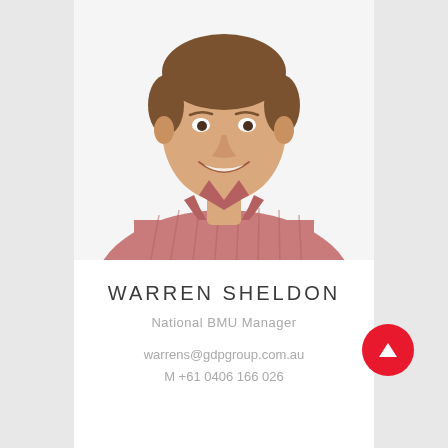[Figure (photo): Headshot of Warren Sheldon, a young man smiling, wearing a pink/red striped button-up shirt, white background]
WARREN SHELDON
National BMU Manager
warrens@gdpgroup.com.au
M +61 0406 166 026